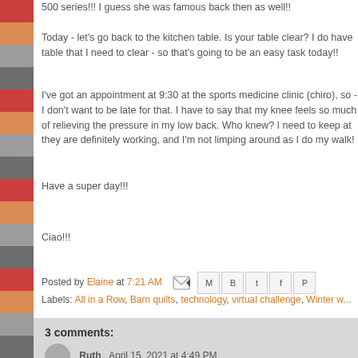500 series!!! I guess she was famous back then as well!!
Today - let's go back to the kitchen table. Is your table clear? I do have table that I need to clear - so that's going to be an easy task today!!
I've got an appointment at 9:30 at the sports medicine clinic (chiro), so - I don't want to be late for that. I have to say that my knee feels so much of relieving the pressure in my low back. Who knew? I need to keep at they are definitely working, and I'm not limping around as I do my walk!
Have a super day!!!
Ciao!!!
Posted by Elaine at 7:21 AM  Labels: All in a Row, Barn quilts, technology, virtual challenge, Winter w...
3 comments:
Ruth  April 15, 2021 at 4:49 PM